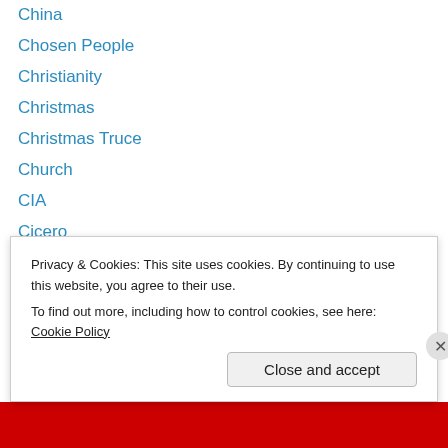China
Chosen People
Christianity
Christmas
Christmas Truce
Church
CIA
Cicero
city
civic religion
civil disobedience
civil war
civilization
Cleopatra
Privacy & Cookies: This site uses cookies. By continuing to use this website, you agree to their use.
To find out more, including how to control cookies, see here: Cookie Policy